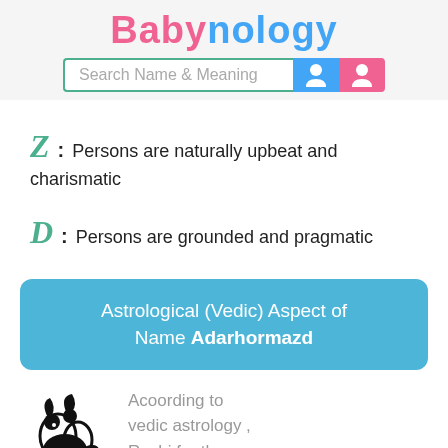Babynology
[Figure (screenshot): Search Name & Meaning search bar with blue boy icon and pink girl icon]
Z : Persons are naturally upbeat and charismatic
D : Persons are grounded and pragmatic
Astrological (Vedic) Aspect of Name Adarhormazd
[Figure (illustration): Aries/Capricorn zodiac symbol illustration in black]
Acoording to vedic astrology , Rashi for the